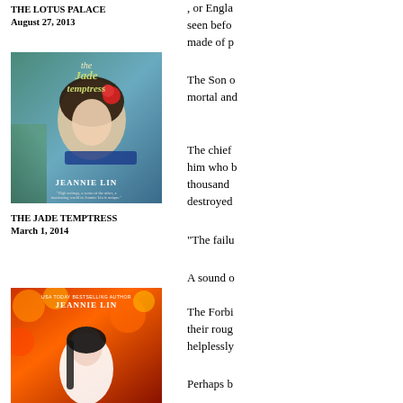THE LOTUS PALACE
August 27, 2013
[Figure (photo): Book cover of The Jade Temptress by Jeannie Lin, showing a woman with red flowers in her hair lying against a blue-green background]
THE JADE TEMPTRESS
March 1, 2014
[Figure (photo): Book cover of another book by Jeannie Lin, showing a woman in white against a red floral background]
, or Engla seen befo made of p
The Son o mortal and
The chief him who b thousand destroyed
"The failu
A sound o
The Forbi their roug helplessly
Perhaps b